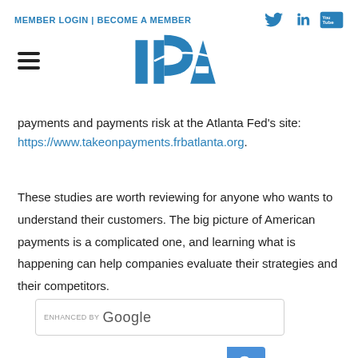MEMBER LOGIN | BECOME A MEMBER
[Figure (logo): IPA logo in blue with swoosh]
payments and payments risk at the Atlanta Fed’s site: https://www.takeonpayments.frbatlanta.org.
These studies are worth reviewing for anyone who wants to understand their customers. The big picture of American payments is a complicated one, and learning what is happening can help companies evaluate their strategies and their competitors.
[Figure (other): Enhanced by Google search bar with blue search button]